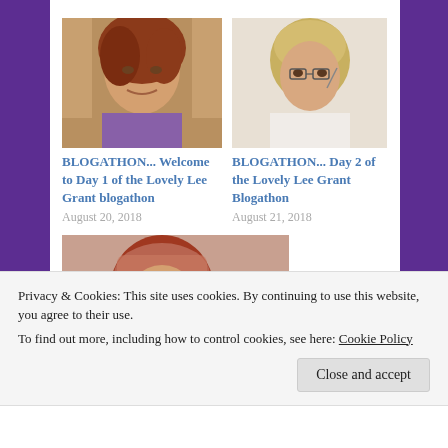[Figure (photo): Photo of woman with reddish hair in purple blouse]
BLOGATHON... Welcome to Day 1 of the Lovely Lee Grant blogathon
August 20, 2018
[Figure (photo): Photo of woman with short blonde hair]
BLOGATHON... Day 2 of the Lovely Lee Grant Blogathon
August 21, 2018
[Figure (photo): Photo of woman with red hair and headscarf]
Privacy & Cookies: This site uses cookies. By continuing to use this website, you agree to their use. To find out more, including how to control cookies, see here: Cookie Policy